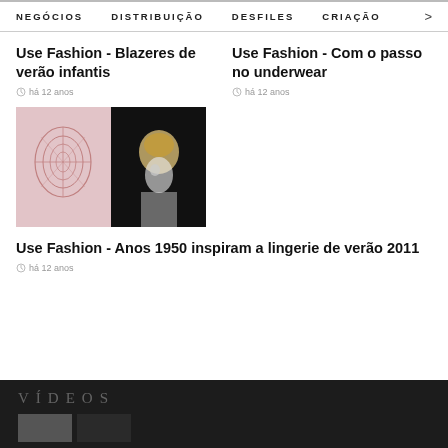NEGÓCIOS   DISTRIBUIÇÃO   DESFILES   CRIAÇÃO   >
Use Fashion - Blazeres de verão infantis
há 12 anos
Use Fashion - Com o passo no underwear
há 12 anos
[Figure (photo): Two-panel image: left panel shows a corset/bra sketch illustration on pink background; right panel shows a performer with gold headpiece on dark background]
Use Fashion - Anos 1950 inspiram a lingerie de verão 2011
há 12 anos
VÍDEOS